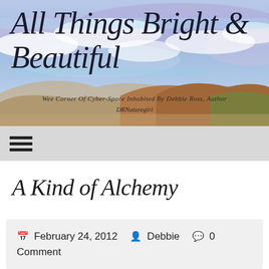[Figure (illustration): Blog header banner with a scenic landscape background showing sky with clouds, purple/blue tones, and reddish-brown hills. Large cursive title text 'All Things Bright & Beautiful' overlaid, with subtitle 'Wee Corner Of Cyber-Space Inhabited By Debbie Ross, Author' and handle 'DRNaturegirl'.]
All Things Bright & Beautiful
Wee Corner Of Cyber-Space Inhabited By Debbie Ross, Author
DRNaturegirl
A Kind of Alchemy
February 24, 2012   Debbie   0 Comment